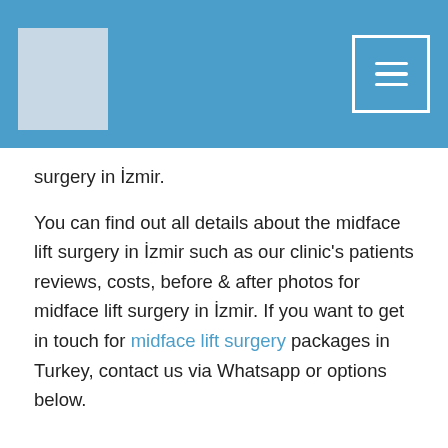[Figure (logo): Clinic logo placeholder box in header]
[Figure (illustration): Hamburger menu icon in top right of header bar]
surgery in İzmir.
You can find out all details about the midface lift surgery in İzmir such as our clinic's patients reviews, costs, before & after photos for midface lift surgery in İzmir. If you want to get in touch for midface lift surgery packages in Turkey, contact us via Whatsapp or options below.
Why Midfacelift Surgery
Mid-face lifting is the process of moving the sagged soft tissues, which are above the cheek bone. The fullness of our cheekbones does not depend solely on the significance of the underlying bone structure. The